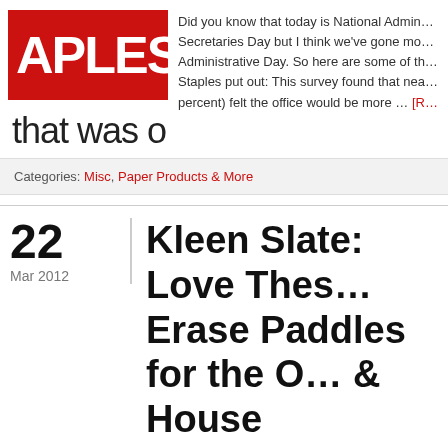[Figure (logo): Staples logo — red rectangle with white APLES text (partial, S cut off on left), registered trademark symbol]
Did you know that today is National Admin… Secretaries Day but I think we've gone mo… Administrative Day. So here are some of th… Staples put out: This survey found that nea… percent) felt the office would be more … [R…
that was o
Categories: Misc, Paper Products & More
22
Mar 2012
Kleen Slate: Love These Erase Paddles for the O & House
By Whitney  1 Comment
[Figure (photo): Two Kleen Slate dry erase paddle products, one with green border (circle shape) and one with blue/dark border (oval shape)]
Every now and then I receive a product tha… awesome. I had that reaction when I opene… Kleen Slate Kleen Slate …